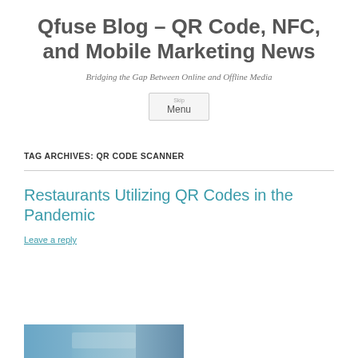Qfuse Blog – QR Code, NFC, and Mobile Marketing News
Bridging the Gap Between Online and Offline Media
Menu
TAG ARCHIVES: QR CODE SCANNER
Restaurants Utilizing QR Codes in the Pandemic
Leave a reply
[Figure (photo): Thumbnail image strip at the bottom of the page, partially visible, showing a blurred colorful photo related to the article about restaurants and QR codes.]